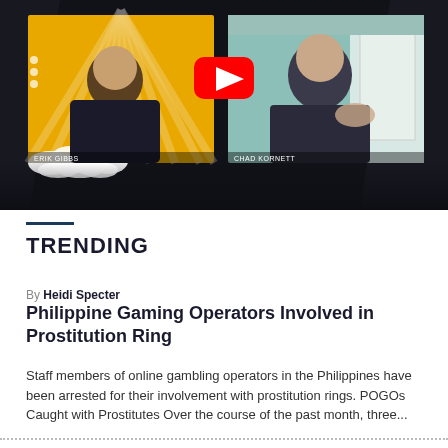[Figure (screenshot): YouTube video thumbnail showing a split-screen of two people: Erik Gibbs on the left with an orange/yellow graphic background, and Chad Kornett on the right with a teal home-office background. A YouTube play button is centered over the split.]
TRENDING
By Heidi Specter
Philippine Gaming Operators Involved in Prostitution Ring
Staff members of online gambling operators in the Philippines have been arrested for their involvement with prostitution rings. POGOs Caught with Prostitutes Over the course of the past month, three...